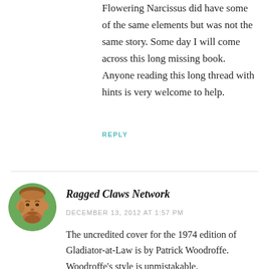Flowering Narcissus did have some of the same elements but was not the same story. Some day I will come across this long missing book. Anyone reading this long thread with hints is very welcome to help.
REPLY
Ragged Claws Network
DECEMBER 13, 2012 AT 1:57 PM
The uncredited cover for the 1974 edition of Gladiator-at-Law is by Patrick Woodroffe. Woodroffe's style is unmistakable.